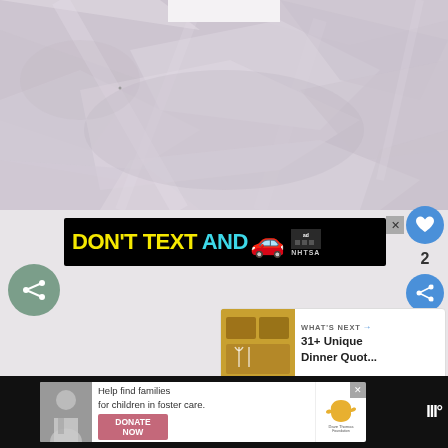[Figure (photo): Crumpled white/light pink paper or fabric background with a small white rounded rectangular card at the top center]
[Figure (screenshot): Advertisement banner: black background with yellow text 'DON'T TEXT' and cyan text 'AND' followed by a red car emoji and NHTSA ad logo. Close button (X) at top right.]
[Figure (screenshot): Blue circular heart/like button icon on right sidebar with count '2' and a blue share icon below]
[Figure (screenshot): Green circular share button on the left with share icon]
[Figure (screenshot): What's Next widget showing thumbnail and text '31+ Unique Dinner Quot...']
[Figure (screenshot): Bottom advertisement bar on black background: Dave Thomas Foundation for Adoption charity donation ad with 'DONATE NOW' button and person image, plus weather icon on far right]